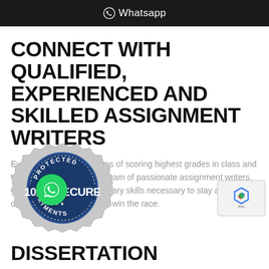Whatsapp
CONNECT WITH QUALIFIED, EXPERIENCED AND SKILLED ASSIGNMENT WRITERS
Every good student dreams of scoring highest grades in class and this is where they need a team of passionate assignment writers. Our writers have extraordinary skills necessary to stay ahead of others. Get connected and win the race.
[Figure (logo): Protected 100% Secure Payments badge/seal in silver and dark blue]
DISSERTATION ASSISTANCE